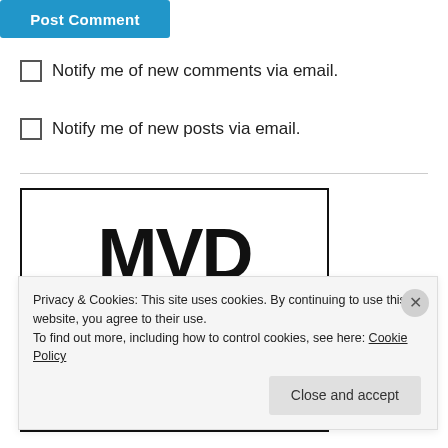Post Comment
Notify me of new comments via email.
Notify me of new posts via email.
[Figure (logo): MVD Entertainment Group logo with green bar at bottom]
Privacy & Cookies: This site uses cookies. By continuing to use this website, you agree to their use. To find out more, including how to control cookies, see here: Cookie Policy
Close and accept